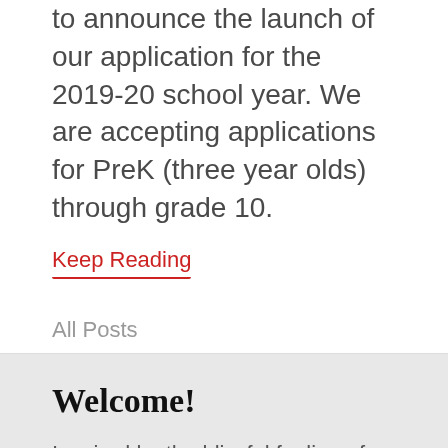to announce the launch of our application for the 2019-20 school year. We are accepting applications for PreK (three year olds) through grade 10.
Keep Reading
All Posts
Welcome!
Inspired by the blissful feeling of uncovering connections, our blog Eureka! McLean is about